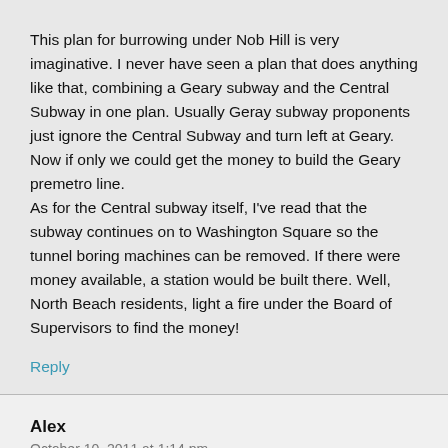This plan for burrowing under Nob Hill is very imaginative. I never have seen a plan that does anything like that, combining a Geary subway and the Central Subway in one plan. Usually Geray subway proponents just ignore the Central Subway and turn left at Geary. Now if only we could get the money to build the Geary premetro line.
As for the Central subway itself, I've read that the subway continues on to Washington Square so the tunnel boring machines can be removed. If there were money available, a station would be built there. Well, North Beach residents, light a fire under the Board of Supervisors to find the money!
Reply
Alex
October 10, 2011 at 1:14 pm